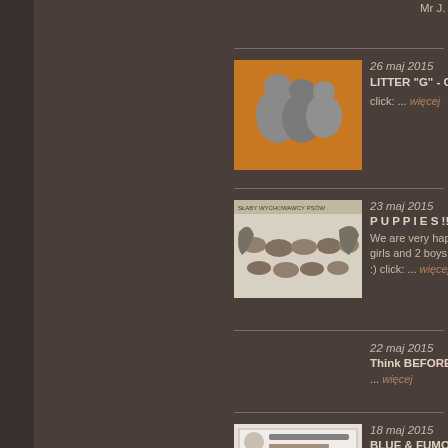Mr J. de Cuyper
[Figure (photo): Gray kittens on orange background, viewed from behind]
26 maj 2015
LITTER "G" - GA
click: ... więcej
[Figure (photo): Document/chart showing dog breeding diagram with dog silhouettes and text in Polish]
23 maj 2015
P U P P I E S !!!
We are very hap girls and 2 boys! :) click: ... więcej
22 maj 2015
Think BEFORE y
... więcej
[Figure (photo): Certificate document with circular seal logo]
18 maj 2015
BLUE & FUMO's
Next dogs in our